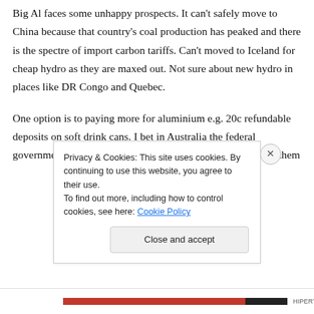Big Al faces some unhappy prospects. It can't safely move to China because that country's coal production has peaked and there is the spectre of import carbon tariffs. Can't moved to Iceland for cheap hydro as they are maxed out. Not sure about new hydro in places like DR Congo and Quebec.
One option is to paying more for aluminium e.g. 20c refundable deposits on soft drink cans. I bet in Australia the federal government will effectively pay the industry's carbon tax for them
Privacy & Cookies: This site uses cookies. By continuing to use this website, you agree to their use.
To find out more, including how to control cookies, see here: Cookie Policy
HIPERTHETAI